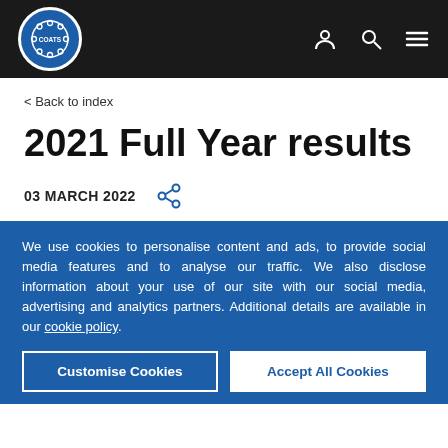[Figure (logo): Coats company logo — circular blue badge with chain link border and COATS text, on dark navigation bar with user, search, and menu icons on the right]
< Back to index
2021 Full Year results
03 MARCH 2022
We use cookies to personalise content and ads, to provide social media features and to analyse our traffic. We also disclose information about your use of our site with our social media, advertising and analytics partners. Additional details are available in our cookie policy.
Customise Cookies | Accept All Cookies